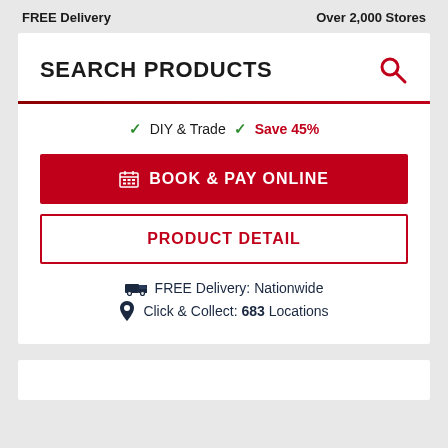FREE Delivery    Over 2,000 Stores
SEARCH PRODUCTS
✓ DIY & Trade ✓ Save 45%
BOOK & PAY ONLINE
PRODUCT DETAIL
FREE Delivery: Nationwide
Click & Collect: 683 Locations